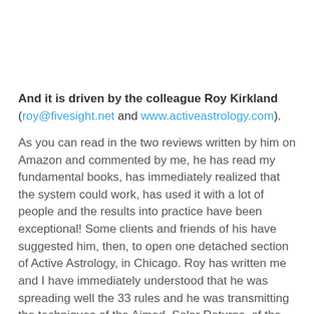And it is driven by the colleague Roy Kirkland (roy@fivesight.net and www.activeastrology.com).
As you can read in the two reviews written by him on Amazon and commented by me, he has read my fundamental books, has immediately realized that the system could work, has used it with a lot of people and the results into practice have been exceptional! Some clients and friends of his have suggested him, then, to open one detached section of Active Astrology, in Chicago. Roy has written me and I have immediately understood that he was spreading well the 33 rules and he was transmitting the techniques of the Aimed Solar Returns, of the Aimed Lunar Returns and of the "Symbol Exorcism" in thousands of potential users of this school. Then I have immediately